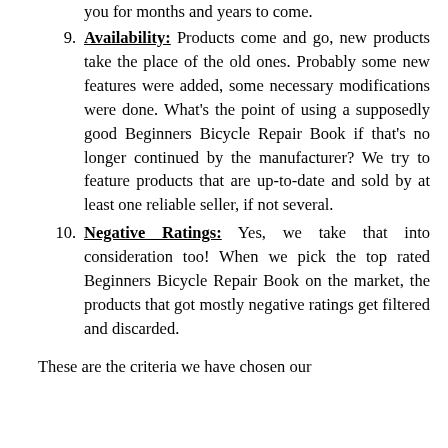you for months and years to come.
9. Availability: Products come and go, new products take the place of the old ones. Probably some new features were added, some necessary modifications were done. What's the point of using a supposedly good Beginners Bicycle Repair Book if that's no longer continued by the manufacturer? We try to feature products that are up-to-date and sold by at least one reliable seller, if not several.
10. Negative Ratings: Yes, we take that into consideration too! When we pick the top rated Beginners Bicycle Repair Book on the market, the products that got mostly negative ratings get filtered and discarded.
These are the criteria we have chosen our